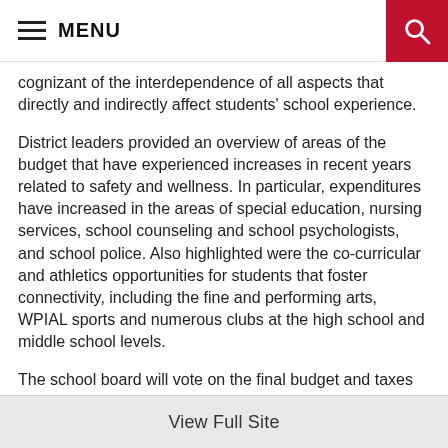MENU
cognizant of the interdependence of all aspects that directly and indirectly affect students' school experience.
District leaders provided an overview of areas of the budget that have experienced increases in recent years related to safety and wellness. In particular, expenditures have increased in the areas of special education, nursing services, school counseling and school psychologists, and school police. Also highlighted were the co-curricular and athletics opportunities for students that foster connectivity, including the fine and performing arts, WPIAL sports and numerous clubs at the high school and middle school levels.
The school board will vote on the final budget and taxes on Monday, June 27, 2022. The meeting, which is open to the public, begins at 7 p.m. in the district's administration building.
View Full Site